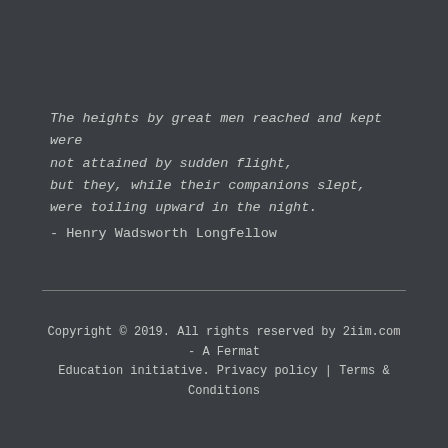The heights by great men reached and kept were not attained by sudden flight,
but they, while their companions slept,
were toiling upward in the night.
- Henry Wadsworth Longfellow
Copyright © 2019. All rights reserved by 2iim.com - A Fermat Education initiative. Privacy policy | Terms & Conditions